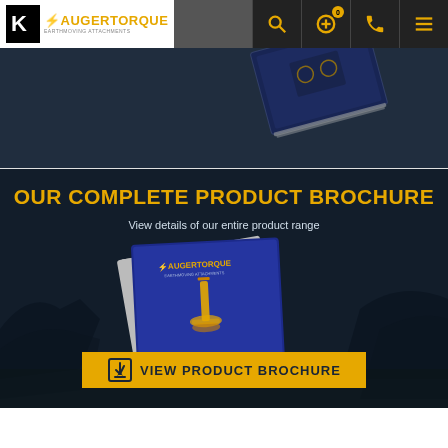[Figure (logo): Kinshofer group company logo (K mark) and AugerTorque earthmoving attachments logo in navigation bar]
[Figure (screenshot): Hero top section showing a partial view of a brochure/book on dark background]
OUR COMPLETE PRODUCT BROCHURE
View details of our entire product range
[Figure (photo): AugerTorque product brochure book in blue and gold cover on dark machinery background]
VIEW PRODUCT BROCHURE